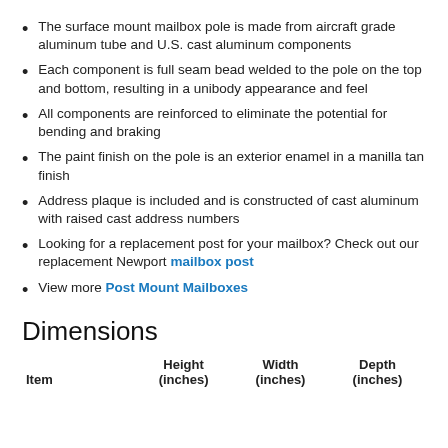The surface mount mailbox pole is made from aircraft grade aluminum tube and U.S. cast aluminum components
Each component is full seam bead welded to the pole on the top and bottom, resulting in a unibody appearance and feel
All components are reinforced to eliminate the potential for bending and braking
The paint finish on the pole is an exterior enamel in a manilla tan finish
Address plaque is included and is constructed of cast aluminum with raised cast address numbers
Looking for a replacement post for your mailbox? Check out our replacement Newport mailbox post
View more Post Mount Mailboxes
Dimensions
| Item | Height (inches) | Width (inches) | Depth (inches) |
| --- | --- | --- | --- |